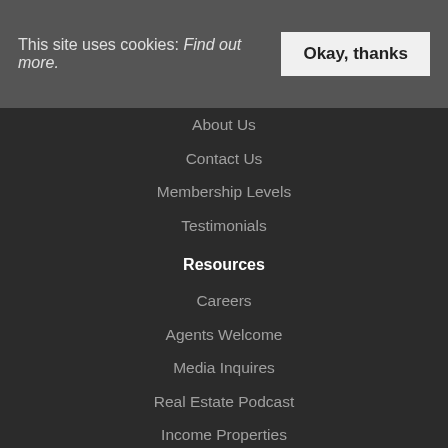This site uses cookies: Find out more.   Okay, thanks
About Us
Contact Us
Membership Levels
Testimonials
Resources
Careers
Agents Welcome
Media Inquires
Real Estate Podcast
Income Properties
Popular
Gift Letter
Investment Property
Investment Blog
Atlanta Investment
Network
Solomon Success
Holistic Survival
Jason Hartman
Wealth Management
Hartman Media